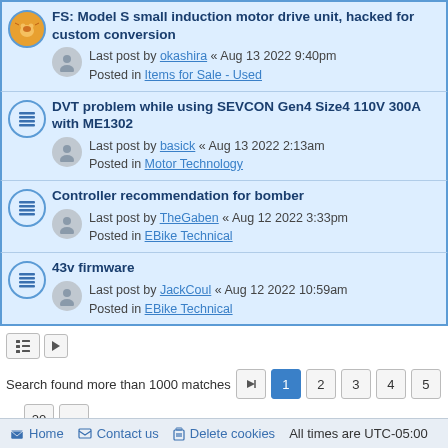FS: Model S small induction motor drive unit, hacked for custom conversion — Last post by okashira « Aug 13 2022 9:40pm — Posted in Items for Sale - Used
DVT problem while using SEVCON Gen4 Size4 110V 300A with ME1302 — Last post by basick « Aug 13 2022 2:13am — Posted in Motor Technology
Controller recommendation for bomber — Last post by TheGaben « Aug 12 2022 3:33pm — Posted in EBike Technical
43v firmware — Last post by JackCoul « Aug 12 2022 10:59am — Posted in EBike Technical
Search found more than 1000 matches
Home   Contact us   Delete cookies   All times are UTC-05:00